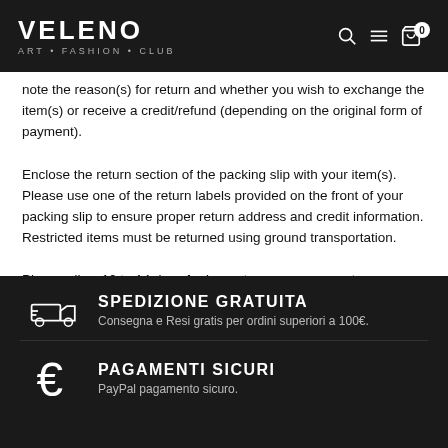VELENO ART·FASHION·CLUB
note the reason(s) for return and whether you wish to exchange the item(s) or receive a credit/refund (depending on the original form of payment).
Enclose the return section of the packing slip with your item(s). Please use one of the return labels provided on the front of your packing slip to ensure proper return address and credit information. Restricted items must be returned using ground transportation.
Please allow 10 to 14 days for Luma to process your return.
SPEDIZIONE GRATUITA
Consegna e Resi gratis per ordini superiori a 100€.
PAGAMENTI SICURI
PayPal pagamento sicuro.